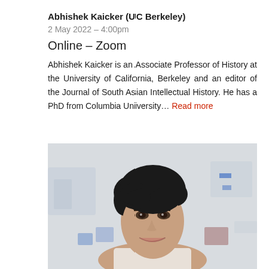Abhishek Kaicker (UC Berkeley)
2 May 2022 – 4:00pm
Online – Zoom
Abhishek Kaicker is an Associate Professor of History at the University of California, Berkeley and an editor of the Journal of South Asian Intellectual History. He has a PhD from Columbia University... Read more
[Figure (photo): Portrait photo of a woman with short dark hair, smiling, in a laboratory setting with blurred lab equipment in the background]